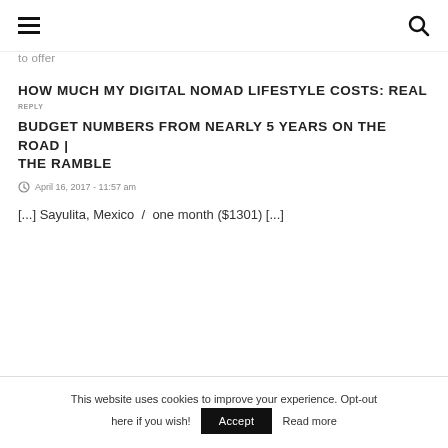☰ [hamburger menu] | [search icon]
to offer
HOW MUCH MY DIGITAL NOMAD LIFESTYLE COSTS: REAL BUDGET NUMBERS FROM NEARLY 5 YEARS ON THE ROAD | THE RAMBLE
April 16, 2017 - 11:57 am
[...] Sayulita, Mexico  /  one month ($1301) [...]
This website uses cookies to improve your experience. Opt-out here if you wish! Accept Read more